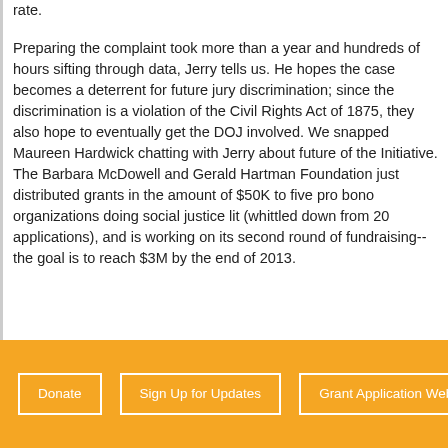rate.
Preparing the complaint took more than a year and hundreds of hours sifting through data, Jerry tells us. He hopes the case becomes a deterrent for future jury discrimination; since the discrimination is a violation of the Civil Rights Act of 1875, they also hope to eventually get the DOJ involved. We snapped Maureen Hardwick chatting with Jerry about future of the Initiative. The Barbara McDowell and Gerald Hartman Foundation just distributed grants in the amount of $50K to five pro bono organizations doing social justice lit (whittled down from 20 applications), and is working on its second round of fundraising--the goal is to reach $3M by the end of 2013.
Donate
Sign Up for Updates
Grant Application Webinar